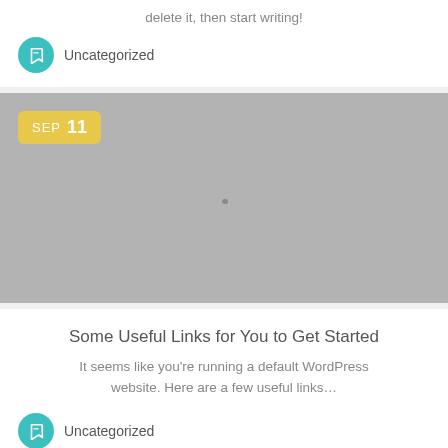delete it, then start writing!
Uncategorized
[Figure (photo): Gray placeholder image with a date badge showing SEP 11]
Some Useful Links for You to Get Started
It seems like you're running a default WordPress website. Here are a few useful links…
Uncategorized